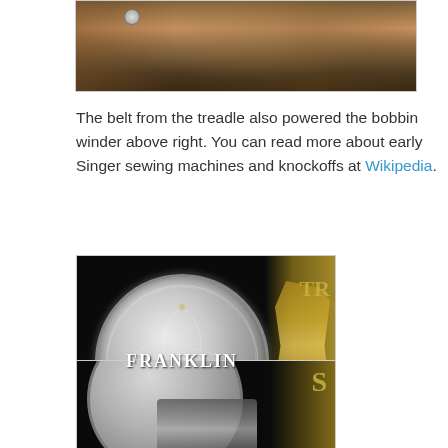[Figure (photo): Close-up photo of a treadle sewing machine component showing wooden surface and metal parts]
The belt from the treadle also powered the bobbin winder above right. You can read more about early Singer sewing machines and knockoffs at Wikipedia.
[Figure (photo): Close-up photo of a Franklin sewing machine medallion/badge, silver colored with ornate engraving and the word FRANKLIN in the center, against a black background with gold decorative trim visible on the right]
[Figure (photo): Close-up photo showing the bottom portion of the Franklin sewing machine badge and mechanical parts below it]